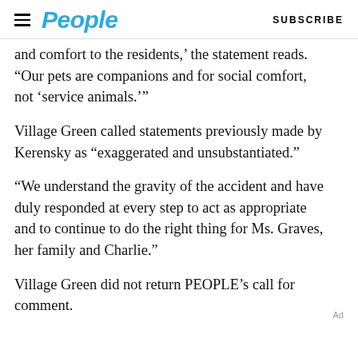People | SUBSCRIBE
and comfort to the residents,' the statement reads. “Our pets are companions and for social comfort, not ‘service animals.’”
Village Green called statements previously made by Kerensky as “exaggerated and unsubstantiated.”
“We understand the gravity of the accident and have duly responded at every step to act as appropriate and to continue to do the right thing for Ms. Graves, her family and Charlie.”
Village Green did not return PEOPLE’s call for comment.